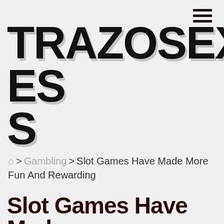TRAZOSEXPRES S
Home > Gambling > Slot Games Have Made More Fun And Rewarding
Slot Games Have Made More Fun And Rewarding